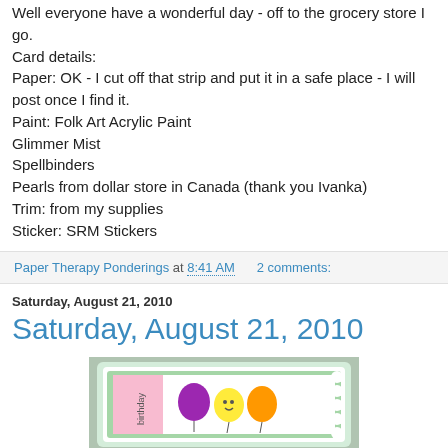Well everyone have a wonderful day - off to the grocery store I go.
Card details:
Paper: OK - I cut off that strip and put it in a safe place - I will post once I find it.
Paint: Folk Art Acrylic Paint
Glimmer Mist
Spellbinders
Pearls from dollar store in Canada (thank you Ivanka)
Trim: from my supplies
Sticker: SRM Stickers
Paper Therapy Ponderings at 8:41 AM    2 comments:
Saturday, August 21, 2010
Saturday, August 21, 2010
[Figure (photo): A handmade greeting card with colorful balloons on a green and white background with decorative scalloped border]